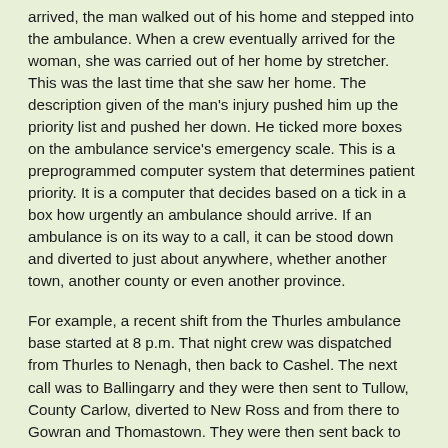arrived, the man walked out of his home and stepped into the ambulance. When a crew eventually arrived for the woman, she was carried out of her home by stretcher. This was the last time that she saw her home. The description given of the man's injury pushed him up the priority list and pushed her down. He ticked more boxes on the ambulance service's emergency scale. This is a preprogrammed computer system that determines patient priority. It is a computer that decides based on a tick in a box how urgently an ambulance should arrive. If an ambulance is on its way to a call, it can be stood down and diverted to just about anywhere, whether another town, another county or even another province.
For example, a recent shift from the Thurles ambulance base started at 8 p.m. That night crew was dispatched from Thurles to Nenagh, then back to Cashel. The next call was to Ballingarry and they were then sent to Tullow, County Carlow, diverted to New Ross and from there to Gowran and Thomastown. They were then sent back to Carlow town. This involved seven and a half hours of non-stop driving and only one patient to be transferred to hospital. While all this frantic driving was happening, Thurles was left without a service.
This situation is being replicated every week as Tipperary ambulances are diverted to other regions. Last week, for example, the south-east region operated at 50% capacity due to long-term sick leave, exhaustion and lack of staff to fill rosters. Exhausted paramedics rush along the